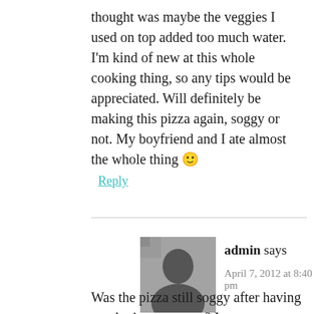thought was maybe the veggies I used on top added too much water. I'm kind of new at this whole cooking thing, so any tips would be appreciated. Will definitely be making this pizza again, soggy or not. My boyfriend and I ate almost the whole thing 🙂
Reply
[Figure (photo): Black and white photo of admin user avatar]
admin says
April 7, 2012 at 8:40 pm
Was the pizza still soggy after having ample time to set up? It should be different once called